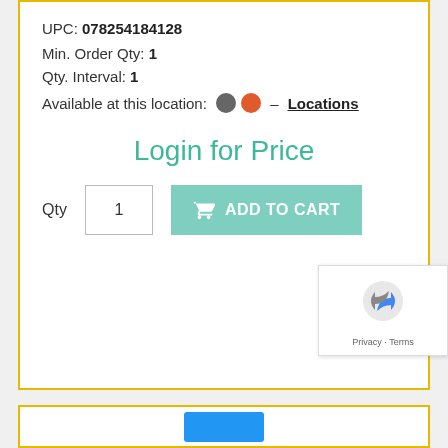UPC: 078254184128
Min. Order Qty: 1
Qty. Interval: 1
Available at this location: ●● – Locations
Login for Price
Qty 1  ADD TO CART
[Figure (logo): reCAPTCHA logo with Privacy and Terms links]